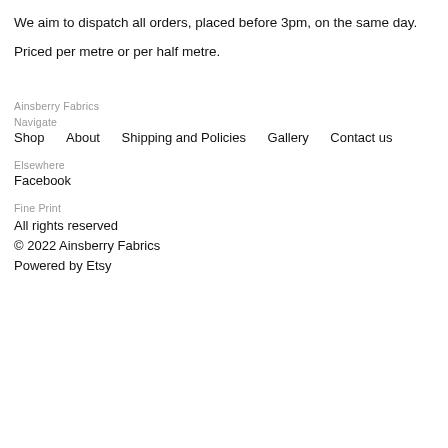We aim to dispatch all orders, placed before 3pm, on the same day.
Priced per metre or per half metre.
Ainsberry Fabrics
Navigate
Shop   About   Shipping and Policies   Gallery   Contact us
Elsewhere
Facebook
Fine Print
All rights reserved
© 2022 Ainsberry Fabrics
Powered by Etsy